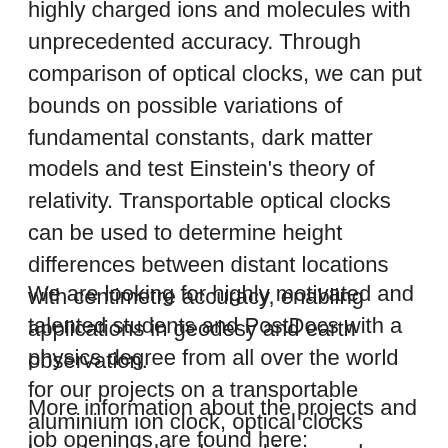highly charged ions and molecules with unprecedented accuracy. Through comparison of optical clocks, we can put bounds on possible variations of fundamental constants, dark matter models and test Einstein's theory of relativity. Transportable optical clocks can be used to determine height differences between distant locations with centimetre accuracy, enabling applications in geodesy and earth observation.
We are looking for highly motivated and talented students and PostDocs with a physics degree from all over the world for our projects on a transportable aluminium ion clock, optical clocks based on highly charged ions, and a multi-ion calcium clock.
More information about the projects and job openings are found here: